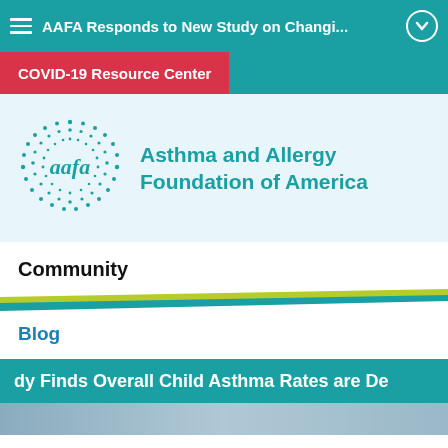AAFA Responds to New Study on Changi...
COVID-19 Resource Center
[Figure (logo): AAFA (Asthma and Allergy Foundation of America) logo — circular dotted teal graphic with 'aafa' text, beside the organization name in teal.]
Community
Blog
dy Finds Overall Child Asthma Rates are De